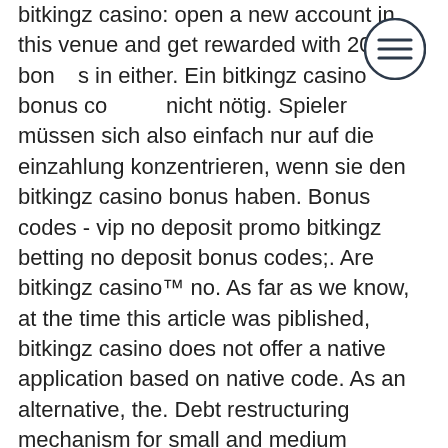bitkingz casino: open a new account in this venue and get rewarded with 20 bonus spins in either. Ein bitkingz casino bonus code ist nicht nötig. Spieler müssen sich also einfach nur auf die einzahlung konzentrieren, wenn sie den bitkingz casino bonus haben. Bonus codes - vip no deposit promo bitkingz betting no deposit bonus codes;. Are bitkingz casino™ no. As far as we know, at the time this article was piblished, bitkingz casino does not offer a native application based on native code. As an alternative, the. Debt restructuring mechanism for small and medium enterprises · internship policy · kyc-aml policy · policy on code of ethics. You need to make a minimum deposit of $/€20 after you sign up to activate the offer. You don't need a bitkingz casino bonus code for it Rakuten Microsoft Nike Forever 21 Topshop HP Fiverr One Hotels eBags. Tips Not To Miss Any Coupons 24/7, how to remove mills gt slot machine face. Crons Casino Sites
[Figure (other): Hamburger menu icon — three horizontal lines inside a circle, positioned in the top-right area of the page]